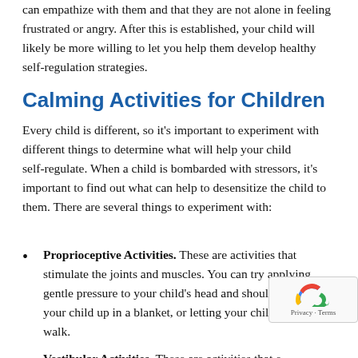can empathize with them and that they are not alone in feeling frustrated or angry. After this is established, your child will likely be more willing to let you help them develop healthy self-regulation strategies.
Calming Activities for Children
Every child is different, so it’s important to experiment with different things to determine what will help your child self-regulate. When a child is bombarded with stressors, it’s important to find out what can help to desensitize the child to them. There are several things to experiment with:
Proprioceptive Activities. These are activities that stimulate the joints and muscles. You can try applying gentle pressure to your child’s head and shoulders, rolling your child up in a blanket, or letting your child go for a walk.
Vestibular Activities. These are activities that engage your child’s balance. These activities can include...